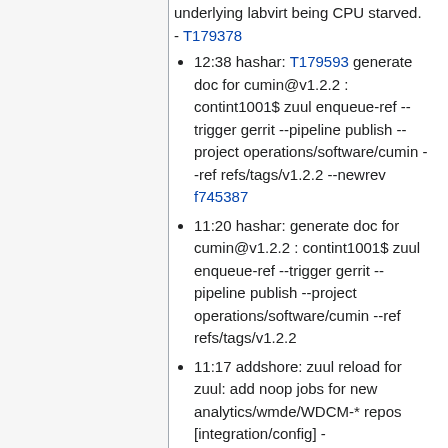underlying labvirt being CPU starved. - T179378
12:38 hashar: T179593 generate doc for cumin@v1.2.2 : contint1001$ zuul enqueue-ref --trigger gerrit --pipeline publish --project operations/software/cumin --ref refs/tags/v1.2.2 --newrev f745387
11:20 hashar: generate doc for cumin@v1.2.2 : contint1001$ zuul enqueue-ref --trigger gerrit --pipeline publish --project operations/software/cumin --ref refs/tags/v1.2.2
11:17 addshore: zuul reload for zuul: add noop jobs for new analytics/wmde/WDCM-* repos [integration/config] - https://gerrit.wikimedia.org/r/388423